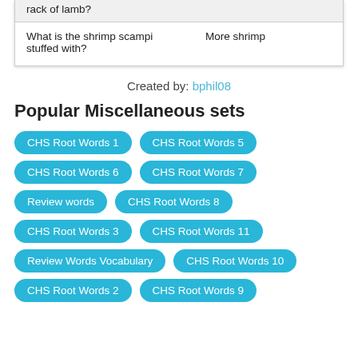| Question | Answer |
| --- | --- |
| lamb with the half rack of lamb? |  |
| What is the shrimp scampi stuffed with? | More shrimp |
Created by: bphil08
Popular Miscellaneous sets
CHS Root Words 1
CHS Root Words 5
CHS Root Words 6
CHS Root Words 7
Review words
CHS Root Words 8
CHS Root Words 3
CHS Root Words 11
Review Words Vocabulary
CHS Root Words 10
CHS Root Words 2
CHS Root Words 9